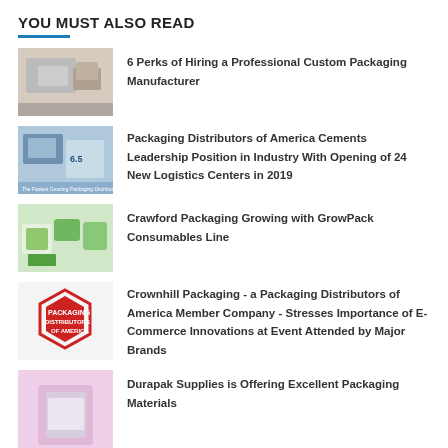YOU MUST ALSO READ
6 Perks of Hiring a Professional Custom Packaging Manufacturer
Packaging Distributors of America Cements Leadership Position in Industry With Opening of 24 New Logistics Centers in 2019
Crawford Packaging Growing with GrowPack Consumables Line
Crownhill Packaging - a Packaging Distributors of America Member Company - Stresses Importance of E-Commerce Innovations at Event Attended by Major Brands
Durapak Supplies is Offering Excellent Packaging Materials
Wholesale Direct Offers a Wide Range of Take Away Food Packaging Supplies